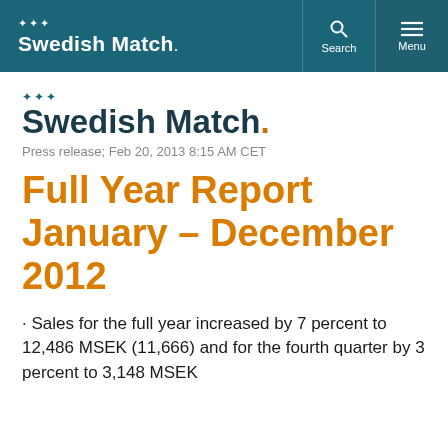Swedish Match. Search Menu
Swedish Match.
Press release; Feb 20, 2013 8:15 AM CET
Full Year Report January – December 2012
· Sales for the full year increased by 7 percent to 12,486 MSEK (11,666) and for the fourth quarter by 3 percent to 3,148 MSEK